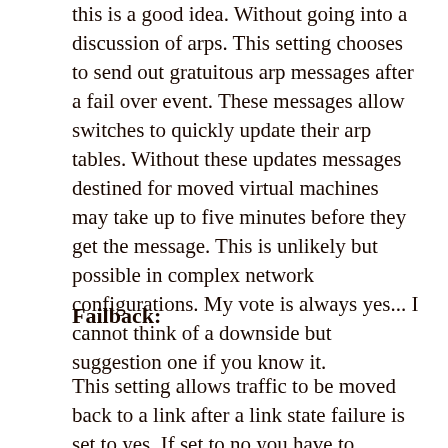this is a good idea.  Without going into a discussion of arps.  This setting chooses to send out gratuitous arp messages after a fail over event.   These messages allow switches to quickly update their arp tables.  Without these updates messages destined for moved virtual machines may take up to five minutes before they get the message.   This is unlikely but possible in complex network configurations.   My vote is always yes... I cannot think of a downside but suggestion one if you know it.
Failback:
This setting allows traffic to be moved back to a link after a link state failure is set to yes.  If set to no you have to manually move the traffic flow back.   There are two